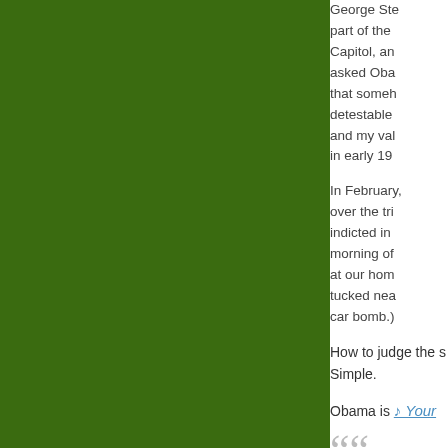[Figure (photo): Large dark green rectangular panel on the left side of the page]
George Ste... part of the Capitol, an... asked Oba... that someh... detestable ... and my val... in early 19...
In February, over the tri... indicted in ... morning of ... at our hom... tucked nea... car bomb.)
How to judge the s... Simple.
Obama is ♪ Your...
““ I'm here to... Be it earl...